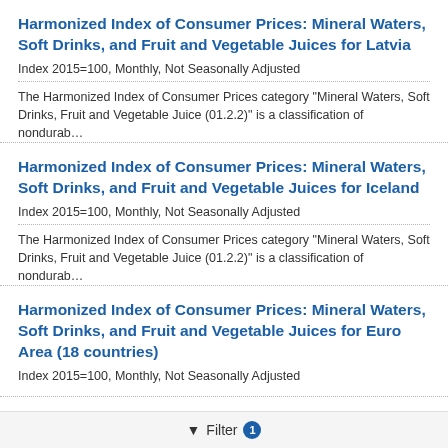Harmonized Index of Consumer Prices: Mineral Waters, Soft Drinks, and Fruit and Vegetable Juices for Latvia
Index 2015=100, Monthly, Not Seasonally Adjusted
The Harmonized Index of Consumer Prices category "Mineral Waters, Soft Drinks, Fruit and Vegetable Juice (01.2.2)" is a classification of nondurab...
Harmonized Index of Consumer Prices: Mineral Waters, Soft Drinks, and Fruit and Vegetable Juices for Iceland
Index 2015=100, Monthly, Not Seasonally Adjusted
The Harmonized Index of Consumer Prices category "Mineral Waters, Soft Drinks, Fruit and Vegetable Juice (01.2.2)" is a classification of nondurab...
Harmonized Index of Consumer Prices: Mineral Waters, Soft Drinks, and Fruit and Vegetable Juices for Euro Area (18 countries)
Index 2015=100, Monthly, Not Seasonally Adjusted
Filter 1